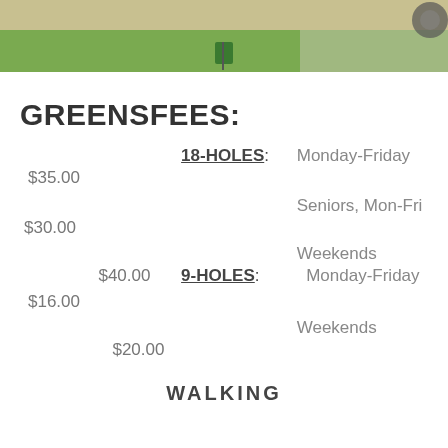[Figure (photo): Photo of a grassy area near a road or parking lot, with a small green sign visible on the grass]
GREENSFEES:
| 18-HOLES: | Monday-Friday | $35.00 |
|  | Seniors, Mon-Fri | $30.00 |
|  | Weekends | $40.00 |
| 9-HOLES: | Monday-Friday | $16.00 |
|  | Weekends | $20.00 |
WALKING